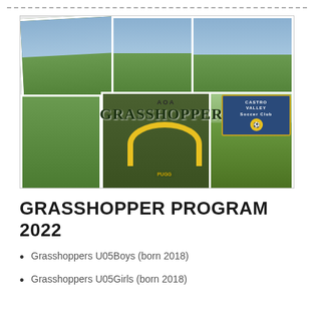[Figure (photo): Photo collage of children playing soccer, featuring 6 photos arranged in a grid. Center shows 'AOA GRASSHOPPERS' text overlay and a Castro Valley Soccer Club logo. Children are in green/gray soccer uniforms on grass fields.]
GRASSHOPPER PROGRAM 2022
Grasshoppers U05Boys (born 2018)
Grasshoppers U05Girls (born 2018)